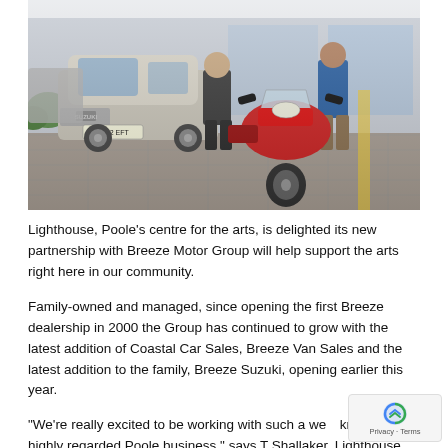[Figure (photo): Two men standing in a car dealership forecourt. On the left is a silver Suzuki SUV with plate HJ22 EFT. In the centre-right is a red Suzuki motorcycle/scooter. The man on the left wears a dark polo shirt, the man on the right wears a blue shirt and khaki trousers.]
Lighthouse, Poole's centre for the arts, is delighted its new partnership with Breeze Motor Group will help support the arts right here in our community.
Family-owned and managed, since opening the first Breeze dealership in 2000 the Group has continued to grow with the latest addition of Coastal Car Sales, Breeze Van Sales and the latest addition to the family, Breeze Suzuki, opening earlier this year.
"We're really excited to be working with such a well known and highly regarded Poole business," says T[im] Shallaker, Lighthouse Fundraising Manager.